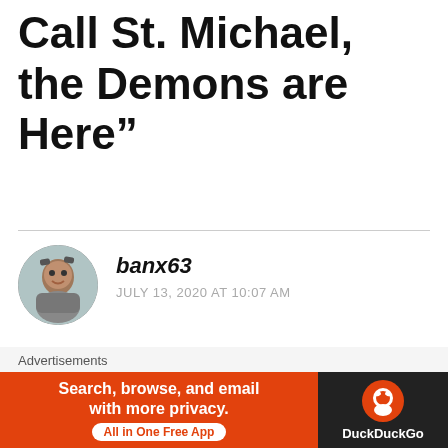Call St. Michael, the Demons are Here”
banx63
JULY 13, 2020 AT 10:07 AM
Excellent podcast – keep it going. How are you finding the Anchor platform?
★ Like
Advertisements
[Figure (other): DuckDuckGo advertisement banner with orange background on left reading 'Search, browse, and email with more privacy. All in One Free App' and dark background on right with DuckDuckGo logo and duck icon.]